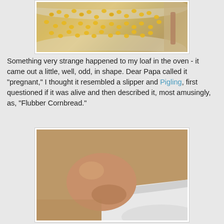[Figure (photo): Partial top view of corn kernels in a white bowl or pan, on a beige/tan background]
Something very strange happened to my loaf in the oven - it came out a little, well, odd, in shape. Dear Papa called it "pregnant," I thought it resembled a slipper and Pigling, first questioned if it was alive and then described it, most amusingly, as, "Flubber Cornbread."
[Figure (photo): Close-up photo of a brown egg resting on the edge of a white ceramic dish or bowl, on a tan/brown surface]